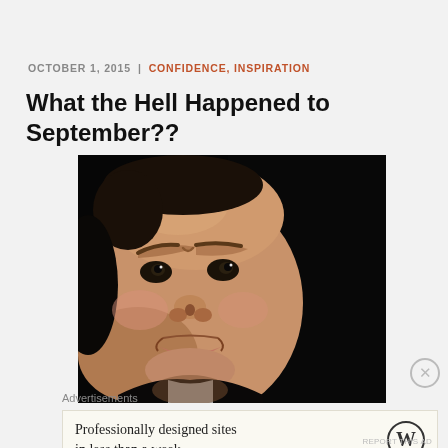OCTOBER 1, 2015  |  CONFIDENCE, INSPIRATION
What the Hell Happened to September??
[Figure (photo): Close-up photo of a frowning baby with furrowed brows against a dark background, wearing a black outfit.]
Advertisements
Professionally designed sites in less than a week